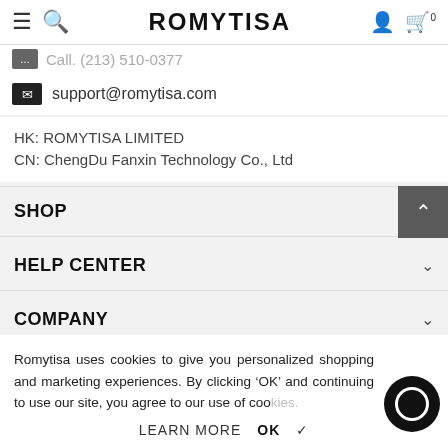ROMYTISA
Call. (213) 510-0377
support@romytisa.com
HK: ROMYTISA LIMITED
CN: ChengDu Fanxin Technology Co., Ltd
SHOP
HELP CENTER
COMPANY
FOLLOW US
Romytisa uses cookies to give you personalized shopping and marketing experiences. By clicking 'OK' and continuing to use our site, you agree to our use of cookies.
LEARN MORE  OK ✔